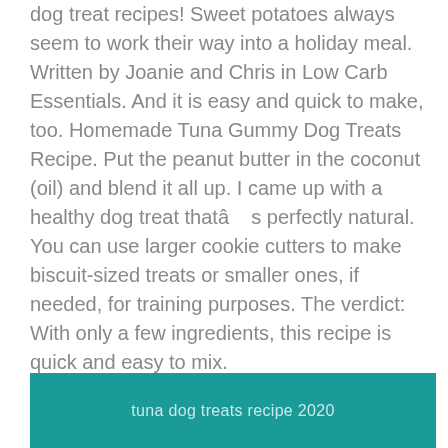dog treat recipes! Sweet potatoes always seem to work their way into a holiday meal. Written by Joanie and Chris in Low Carb Essentials. And it is easy and quick to make, too. Homemade Tuna Gummy Dog Treats Recipe. Put the peanut butter in the coconut (oil) and blend it all up. I came up with a healthy dog treat thatâs perfectly natural. You can use larger cookie cutters to make biscuit-sized treats or smaller ones, if needed, for training purposes. The verdict: With only a few ingredients, this recipe is quick and easy to mix.
Tomato Chutney Tamil, Bdo Sailing Guide, We Get By Lyrics Jamie Webster, Spray Paint Machine, Legendary Deathskull Radscorpion, Sweet Hut Application, Warhammer Champions Dead, Utopia Definition Bible, Best Meal Prep Services Chicago,
tuna dog treats recipe 2020